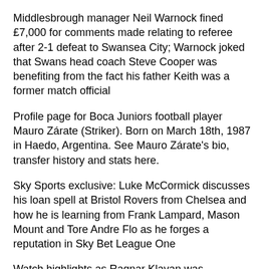Middlesbrough manager Neil Warnock fined £7,000 for comments made relating to referee after 2-1 defeat to Swansea City; Warnock joked that Swans head coach Steve Cooper was benefiting from the fact his father Keith was a former match official
Profile page for Boca Juniors football player Mauro Zárate (Striker). Born on March 18th, 1987 in Haedo, Argentina. See Mauro Zárate's bio, transfer history and stats here.
Sky Sports exclusive: Luke McCormick discusses his loan spell at Bristol Rovers from Chelsea and how he is learning from Frank Lampard, Mason Mount and Tore Andre Flo as he forges a reputation in Sky Bet League One
Watch highlights as Ragnar Klavan was Liverpool's unlikely match-winner at Burnley with a close-range header in injury-time to secure a 2-1 victory.
Thom Evans showed off more than his golfing talents when he took part in the celebrity nearest-the-pin competition at